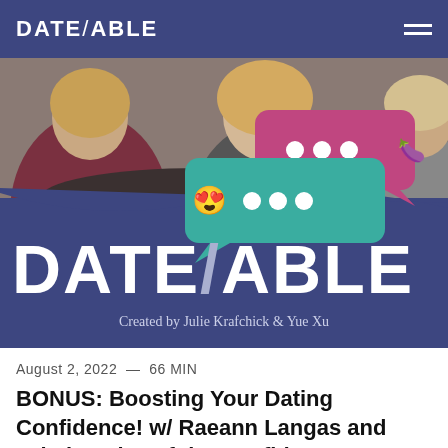DATE/ABLE
[Figure (illustration): DATE/ABLE podcast banner image. Shows two women in background (photo). Overlaid graphic with teal and pink speech bubble chat icons containing a heart-eyes emoji and dots. Large white text 'DATE/ABLE' and subtitle 'Created by Julie Krafchick & Yue Xu' on a dark navy/purple background.]
August 2, 2022  —  66 MIN
BONUS: Boosting Your Dating Confidence! w/ Raeann Langas and Kristina Zias of the Confident Collective